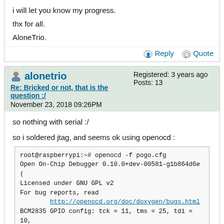i will let you know my progress.

thx for all.

AloneTrio.
Reply   Quote
alonetrio
Re: Bricked or not, that is the question :/
November 23, 2018 09:26PM
Registered: 3 years ago
Posts: 13
so nothing with serial :/

so i soldered jtag, and seems ok using openocd :
root@raspberrypi:~# openocd -f pogo.cfg
Open On-Chip Debugger 0.10.0+dev-00581-g1b864d6e (
Licensed under GNU GPL v2
For bug reports, read
        http://openocd.org/doc/doxygen/bugs.html
BCM2835 GPIO config: tck = 11, tms = 25, tdi = 10,
BCM2835 GPIO nums: swclk = 25, swdio = 24